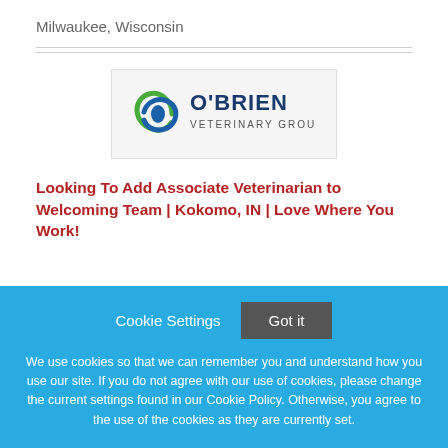Milwaukee, Wisconsin
[Figure (logo): O'Brien Veterinary Group logo with blue and green circular swoosh icon and blue text reading O'BRIEN and VETERINARY GROUP]
Looking To Add Associate Veterinarian to Welcoming Team | Kokomo, IN | Love Where You Work!
Cookie Settings
Got it
We use cookies so that we can remember you and understand how you use our site. If you do not agree with our use of cookies, please change the current settings found in our Cookie Policy. Otherwise, you agree to the use of the cookies as they are currently set.